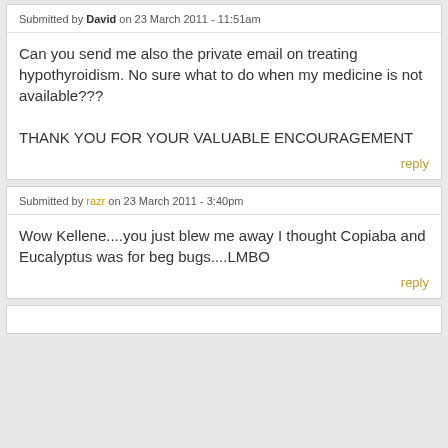Submitted by David on 23 March 2011 - 11:51am
Can you send me also the private email on treating hypothyroidism. No sure what to do when my medicine is not available???

THANK YOU FOR YOUR VALUABLE ENCOURAGEMENT
reply
Submitted by razr on 23 March 2011 - 3:40pm
Wow Kellene....you just blew me away I thought Copiaba and Eucalyptus was for beg bugs....LMBO
reply